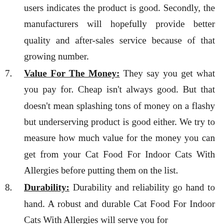users indicates the product is good. Secondly, the manufacturers will hopefully provide better quality and after-sales service because of that growing number.
7. Value For The Money: They say you get what you pay for. Cheap isn't always good. But that doesn't mean splashing tons of money on a flashy but underserving product is good either. We try to measure how much value for the money you can get from your Cat Food For Indoor Cats With Allergies before putting them on the list.
8. Durability: Durability and reliability go hand to hand. A robust and durable Cat Food For Indoor Cats With Allergies will serve you for